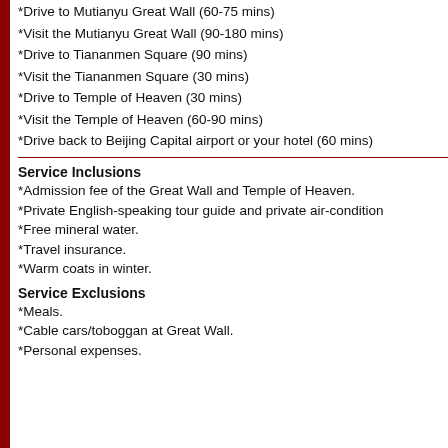*Drive to Mutianyu Great Wall (60-75 mins)
*Visit the Mutianyu Great Wall (90-180 mins)
*Drive to Tiananmen Square (90 mins)
*Visit the Tiananmen Square (30 mins)
*Drive to Temple of Heaven (30 mins)
*Visit the Temple of Heaven (60-90 mins)
*Drive back to Beijing Capital airport or your hotel (60 mins)
Service Inclusions
*Admission fee of the Great Wall and Temple of Heaven.
*Private English-speaking tour guide and private air-condition
*Free mineral water.
*Travel insurance.
*Warm coats in winter.
Service Exclusions
*Meals.
*Cable cars/toboggan at Great Wall.
*Personal expenses.